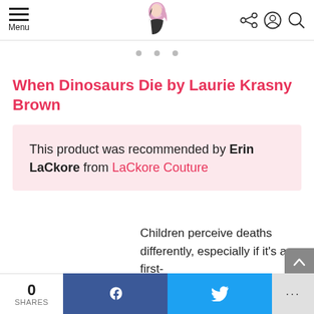Menu | [Logo] | [Share] [Account] [Search]
When Dinosaurs Die by Laurie Krasny Brown
This product was recommended by Erin LaCkore from LaCkore Couture
Children perceive deaths differently, especially if it's a first-
0 SHARES | f | [Twitter bird] | ...